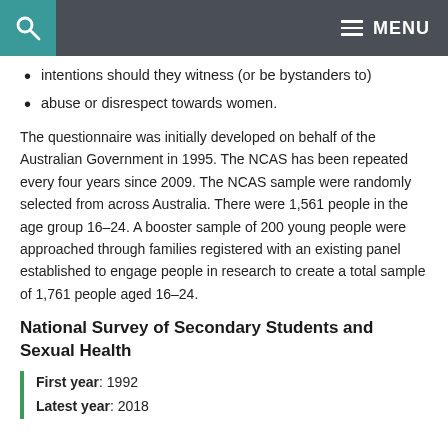MENU
intentions should they witness (or be bystanders to)
abuse or disrespect towards women.
The questionnaire was initially developed on behalf of the Australian Government in 1995. The NCAS has been repeated every four years since 2009. The NCAS sample were randomly selected from across Australia. There were 1,561 people in the age group 16–24. A booster sample of 200 young people were approached through families registered with an existing panel established to engage people in research to create a total sample of 1,761 people aged 16–24.
National Survey of Secondary Students and Sexual Health
First year: 1992
Latest year: 2018